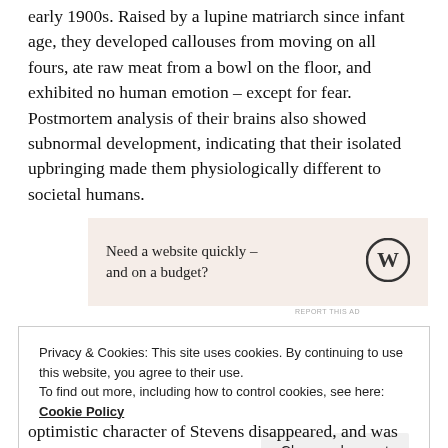early 1900s. Raised by a lupine matriarch since infant age, they developed callouses from moving on all fours, ate raw meat from a bowl on the floor, and exhibited no human emotion – except for fear. Postmortem analysis of their brains also showed subnormal development, indicating that their isolated upbringing made them physiologically different to societal humans.
[Figure (other): Advertisement banner with beige/pink background showing text 'Need a website quickly – and on a budget?' with a WordPress logo on the right.]
REPORT THIS AD
Privacy & Cookies: This site uses cookies. By continuing to use this website, you agree to their use.
To find out more, including how to control cookies, see here: Cookie Policy
Close and accept
optimistic character of Stevens disappeared, and was